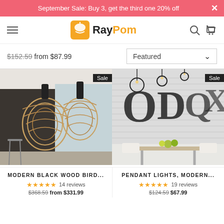September Sale: Buy 3, get the third one 20% off
[Figure (logo): RayPom logo with orange lamp icon]
$152.59 from $87.99  Featured
[Figure (photo): Modern black wood bird cage pendant lights hanging in a modern interior]
[Figure (photo): Pendant lights with large letter decorations (O, D, Q, X) in a dining room]
MODERN BLACK WOOD BIRD...
★★★★★ 14 reviews
$368.59  from $331.99
PENDANT LIGHTS, MODERN...
★★★★★ 19 reviews
$124.59  $67.99